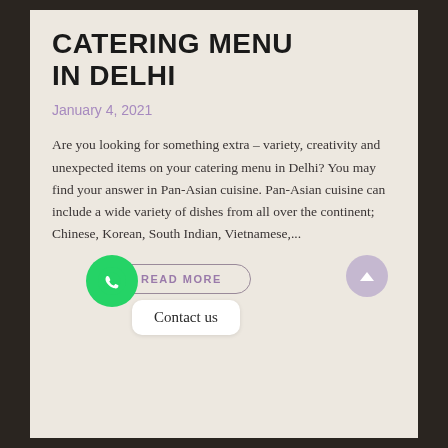CATERING MENU IN DELHI
January 4, 2021
Are you looking for something extra – variety, creativity and unexpected items on your catering menu in Delhi? You may find your answer in Pan-Asian cuisine. Pan-Asian cuisine can include a wide variety of dishes from all over the continent; Chinese, Korean, South Indian, Vietnamese,...
READ MORE
Contact us